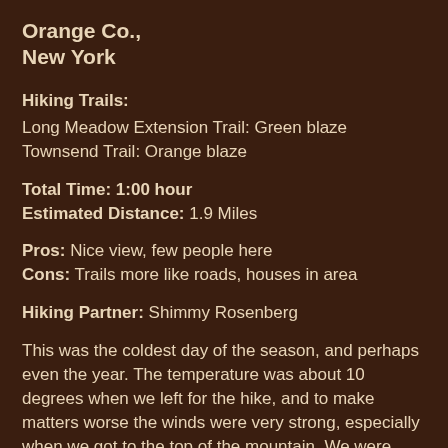Orange Co.,
New York
Hiking Trails:
Long Meadow Extension Trail: Green blaze
Townsend Trail: Orange blaze
Total Time: 1:00 hour
Estimated Distance: 1.9 Miles
Pros: Nice view, few people here
Cons: Trails more like roads, houses in area
Hiking Partner: Shimmy Rosenberg
This was the coldest day of the season, and perhaps even the year. The temperature was about 10 degrees when we left for the hike, and to make matters worse the winds were very strong, especially when we got to the top of the mountain. We were both well dressed with many layers, and no exposure. The sky was gray and dreary, and it has just snowed a few inches the day before, so there was a layer of